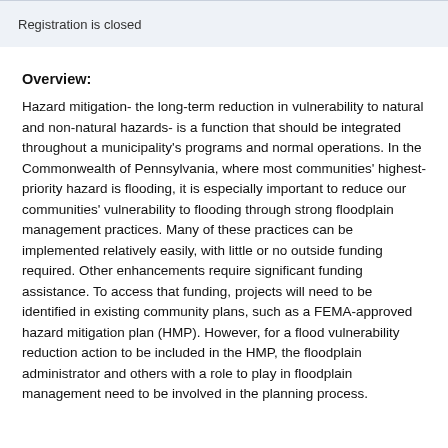Registration is closed
Overview:
Hazard mitigation- the long-term reduction in vulnerability to natural and non-natural hazards- is a function that should be integrated throughout a municipality's programs and normal operations.  In the Commonwealth of Pennsylvania, where most communities' highest-priority hazard is flooding, it is especially important to reduce our communities' vulnerability to flooding through strong floodplain management practices.  Many of these practices can be implemented relatively easily, with little or no outside funding required.  Other enhancements require significant funding assistance.  To access that funding, projects will need to be identified in existing community plans, such as a FEMA-approved hazard mitigation plan (HMP).  However, for a flood vulnerability reduction action to be included in the HMP, the floodplain administrator and others with a role to play in floodplain management need to be involved in the planning process.